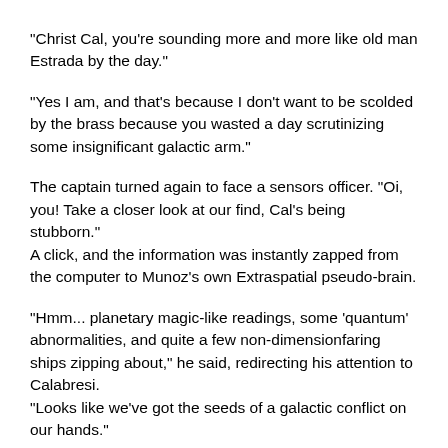"Christ Cal, you're sounding more and more like old man Estrada by the day."
"Yes I am, and that's because I don't want to be scolded by the brass because you wasted a day scrutinizing some insignificant galactic arm."
The captain turned again to face a sensors officer. "Oi, you! Take a closer look at our find, Cal's being stubborn."
A click, and the information was instantly zapped from the computer to Munoz's own Extraspatial pseudo-brain.
"Hmm... planetary magic-like readings, some 'quantum' abnormalities, and quite a few non-dimensionfaring ships zipping about," he said, redirecting his attention to Calabresi.
"Looks like we've got the seeds of a galactic conflict on our hands."
Cal leaned forwards and raised her "eyebrows". "Fine, but the Pohl is going to tag along, and if you find anything suspicious you report back to me or the Avaron immediately."